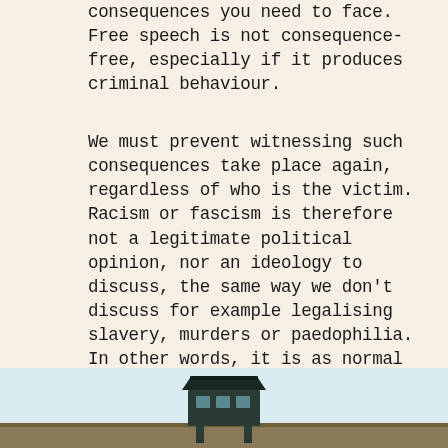consequences you need to face. Free speech is not consequence-free, especially if it produces criminal behaviour.
We must prevent witnessing such consequences take place again, regardless of who is the victim. Racism or fascism is therefore not a legitimate political opinion, nor an ideology to discuss, the same way we don't discuss for example legalising slavery, murders or paedophilia. In other words, it is as normal to be against fascism as it is normal to be against crimes such as murdering and/or paedophilia. Those things are something to prevent, something to fight against. And we have learned the hard way that we should not give way an inch.
[Figure (illustration): Bottom portion of an illustration showing a guard tower or watchtower building against a light sky background, with a flat ground line — suggestive of a concentration camp or prison setting.]